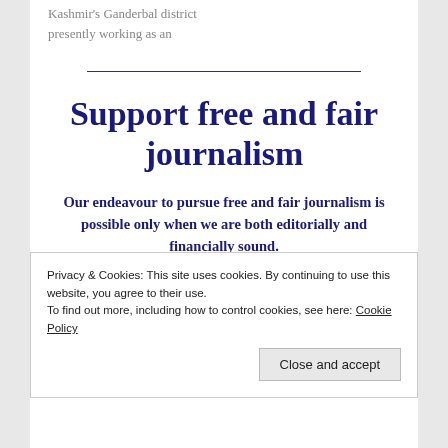Kashmir's Ganderbal district presently working as an
Support free and fair journalism
Our endeavour to pursue free and fair journalism is possible only when we are both editorially and financially sound.
We are the organisation that has dreamt of becoming a
Privacy & Cookies: This site uses cookies. By continuing to use this website, you agree to their use. To find out more, including how to control cookies, see here: Cookie Policy
Close and accept